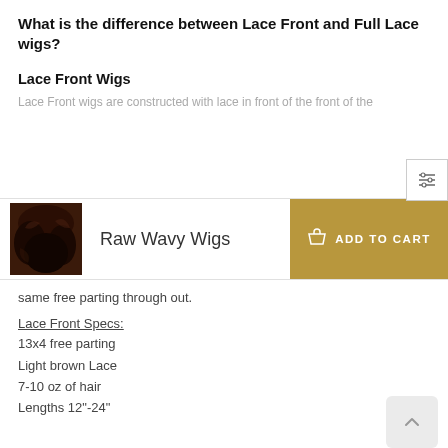What is the difference between Lace Front and Full Lace wigs?
Lace Front Wigs
[partially obscured text]
[Figure (screenshot): Sticky add-to-cart bar showing a thumbnail of a curly hair wig, the text 'Raw Wavy Wigs', and a gold 'ADD TO CART' button]
same free parting through out.
Lace Front Specs:
13x4 free parting
Light brown Lace
7-10 oz of hair
Lengths 12"-24"
Patterns straight, body wave, deep wave, kinky straight and curly
Full Lace Wigs